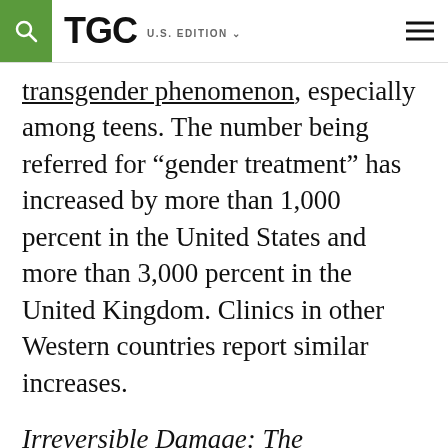TGC U.S. EDITION
transgender phenomenon, especially among teens. The number being referred for “gender treatment” has increased by more than 1,000 percent in the United States and more than 3,000 percent in the United Kingdom. Clinics in other Western countries report similar increases.
Irreversible Damage: The Transgender Craze Seducing Our Daughters is a journalist’s inquiry into the how and why of the surge in self-reported gender dysphoria among teen girls. Abigail Shrier, who writes for The Wall Street Journal, examines the cultural context